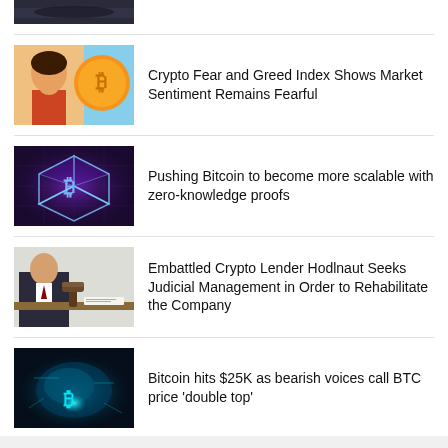[Figure (photo): Partial top image — dark/cloudy scene, cropped]
Crypto Fear and Greed Index Shows Market Sentiment Remains Fearful
[Figure (photo): Woman looking worried next to a gold Bitcoin coin]
Pushing Bitcoin to become more scalable with zero-knowledge proofs
[Figure (photo): Glowing purple/blue geometric Bitcoin cube illustration]
Embattled Crypto Lender Hodlnaut Seeks Judicial Management in Order to Rehabilitate the Company
[Figure (photo): Person in suit with gavel on table — judicial/legal scene]
Bitcoin hits $25K as bearish voices call BTC price 'double top'
[Figure (photo): Glowing cyan Bitcoin map/globe illustration]